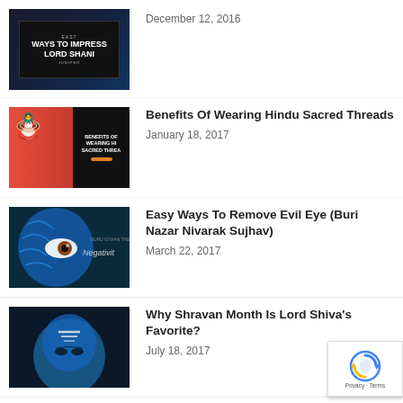[Figure (photo): Thumbnail image with text 'WAYS TO IMPRESS LORD SHANI' on dark background]
December 12, 2016
[Figure (photo): Thumbnail showing colorful Hindu figurines with text overlay 'BENEFITS OF WEARING HINDU SACRED THREADS']
Benefits Of Wearing Hindu Sacred Threads
January 18, 2017
[Figure (photo): Thumbnail showing blue artistic face with eye design and text 'Negativity']
Easy Ways To Remove Evil Eye (Buri Nazar Nivarak Sujhav)
March 22, 2017
[Figure (photo): Thumbnail showing blue-toned artistic depiction of Lord Shiva face]
Why Shravan Month Is Lord Shiva's Favorite?
July 18, 2017